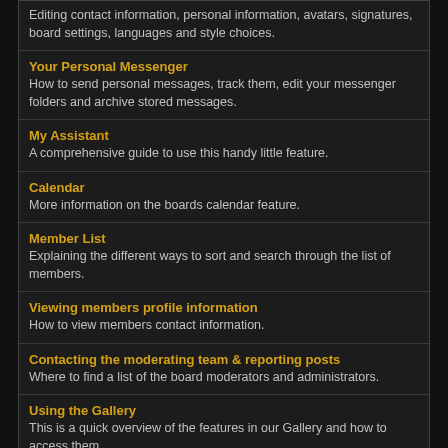Editing contact information, personal information, avatars, signatures, board settings, languages and style choices.
Your Personal Messenger
How to send personal messages, track them, edit your messenger folders and archive stored messages.
My Assistant
A comprehensive guide to use this handy little feature.
Calendar
More information on the boards calendar feature.
Member List
Explaining the different ways to sort and search through the list of members.
Viewing members profile information
How to view members contact information.
Contacting the moderating team & reporting posts
Where to find a list of the board moderators and administrators.
Using the Gallery
This is a quick overview of the features in our Gallery and how to access them.
Lo-Fi Version   Time is now: 1st September 2022 - 11:39 PM
Powered By IP.Board © 2022  IPS, Inc.
Licensed to: dvdaddicted.it